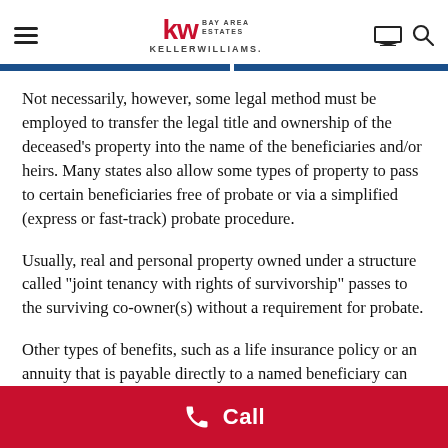KW Bay Area Estates Keller Williams
Not necessarily, however, some legal method must be employed to transfer the legal title and ownership of the deceased’s property into the name of the beneficiaries and/or heirs. Many states also allow some types of property to pass to certain beneficiaries free of probate or via a simplified (express or fast-track) probate procedure.
Usually, real and personal property owned under a structure called “joint tenancy with rights of survivorship” passes to the surviving co-owner(s) without a requirement for probate.
Other types of benefits, such as a life insurance policy or an annuity that is payable directly to a named beneficiary can often be tendered without the requirement for probate. Also, IRAs, Keoghs, and 401(k) accounts are allowed to transfer to the owner named therein